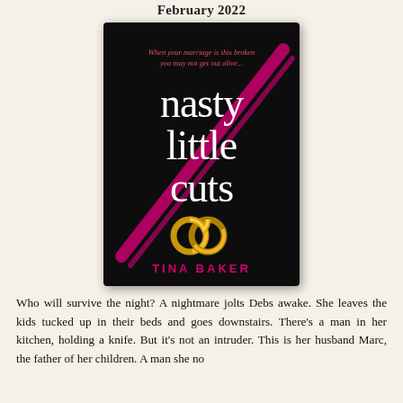February 2022
[Figure (illustration): Book cover of 'nasty little cuts' by Tina Baker. Dark/black background with large white serif text reading 'nasty little cuts'. A diagonal magenta/pink slash runs across the cover. Two interlocked gold wedding rings appear in the lower center. At the top in small red text: 'When your marriage is this broken you may not get out alive...' Author name 'TINA BAKER' in pink/magenta capitals at the bottom.]
Who will survive the night? A nightmare jolts Debs awake. She leaves the kids tucked up in their beds and goes downstairs. There's a man in her kitchen, holding a knife. But it's not an intruder. This is her husband Marc, the father of her children. A man she no